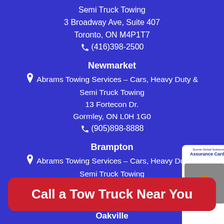Semi Truck Towing
3 Broadway Ave, Suite 407
Toronto, ON M4P1T7
(416)398-2500
Newmarket
Abrams Towing Services – Cars, Heavy Duty & Semi Truck Towing
13 Fortecon Dr.
Gormley, ON L0H 1G0
(905)898-8888
Brampton
Abrams Towing Services – Cars, Heavy Duty & Semi Truck Towing
180 Wilkinson Road Unit #23
Call a Tow Truck Near You
Oakville